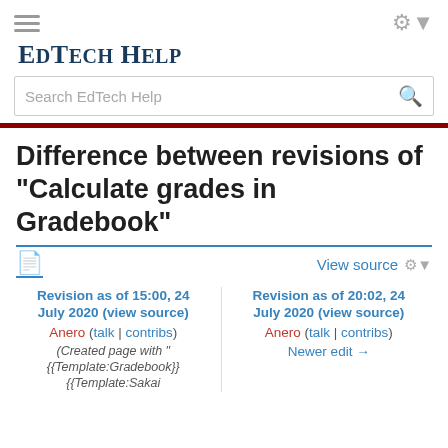EdTech Help
Search EdTech Help
Difference between revisions of "Calculate grades in Gradebook"
View source
Revision as of 15:00, 24 July 2020 (view source)
Anero (talk | contribs)
(Created page with "{{Template:Gradebook}} {{Template:Sakai
Revision as of 20:02, 24 July 2020 (view source)
Anero (talk | contribs)
Newer edit →